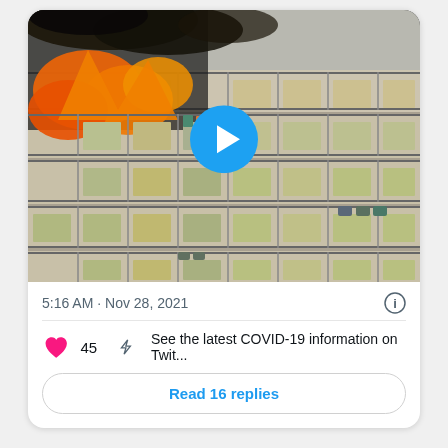[Figure (screenshot): Twitter/social media card showing a video thumbnail of a building on fire with large orange flames and black smoke coming from upper floors. A blue circular play button is overlaid in the center of the image.]
5:16 AM · Nov 28, 2021
45  See the latest COVID-19 information on Twit...
Read 16 replies